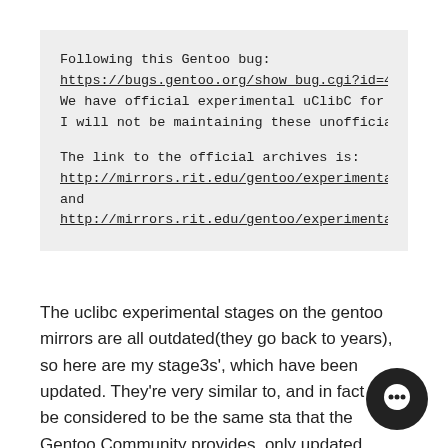Following this Gentoo bug:
https://bugs.gentoo.org/show_bug.cgi?id=4
We have official experimental uClibC for
I will not be maintaining these unofficia

The link to the official archives is:
http://mirrors.rit.edu/gentoo/experimenta
and
http://mirrors.rit.edu/gentoo/experimenta
The uclibc experimental stages on the gentoo mirrors are all outdated(they go back to years), so here are my stage3s', which have been updated. They're very similar to, and in fact can be considered to be the same sta that the Gentoo Community provides, only updated.